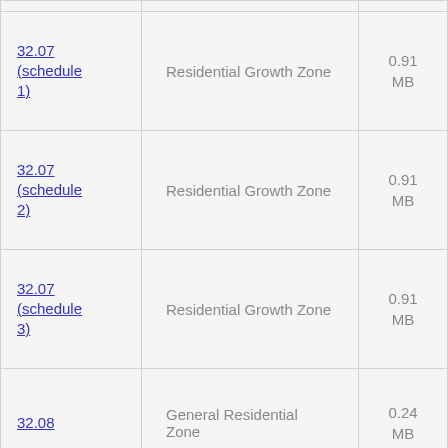| Link | Description | Size |
| --- | --- | --- |
| 32.07 (schedule 1) | Residential Growth Zone | 0.91 MB |
| 32.07 (schedule 2) | Residential Growth Zone | 0.91 MB |
| 32.07 (schedule 3) | Residential Growth Zone | 0.91 MB |
| 32.08 | General Residential Zone | 0.24 MB |
| 32.08 (schedule 1) | General Residential Zone | 0.91 MB |